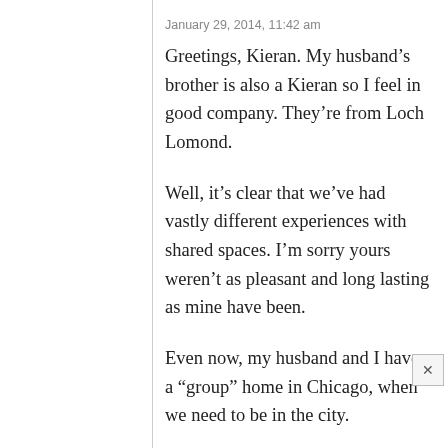January 29, 2014, 11:42 am
Greetings, Kieran. My husband’s brother is also a Kieran so I feel in good company. They’re from Loch Lomond.
Well, it’s clear that we’ve had vastly different experiences with shared spaces. I’m sorry yours weren’t as pleasant and long lasting as mine have been.
Even now, my husband and I have a “group” home in Chicago, when we need to be in the city. We split our time between our wee cottage in Michigan and the city, where we bought a 3-